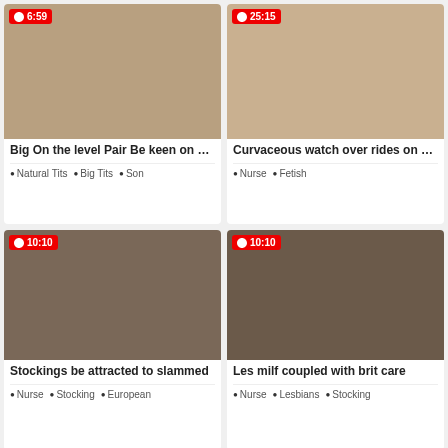[Figure (photo): Video thumbnail with duration badge 6:59]
Big On the level Pair Be keen on …
Natural Tits  Big Tits  Son
[Figure (photo): Video thumbnail with duration badge 25:15]
Curvaceous watch over rides on …
Nurse  Fetish
[Figure (photo): Video thumbnail with duration badge 10:10]
Stockings be attracted to slammed
Nurse  Stocking  European
[Figure (photo): Video thumbnail with duration badge 10:10]
Les milf coupled with brit care
Nurse  Lesbians  Stocking
[Figure (photo): Video thumbnail with duration badge 6:01]
[Figure (photo): Video thumbnail with duration badge 10:05]